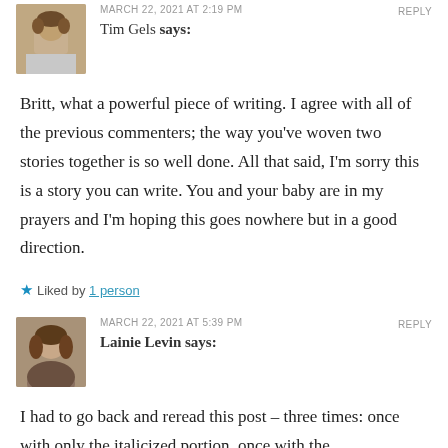MARCH 22, 2021 AT 2:19 PM   REPLY
Tim Gels says:
Britt, what a powerful piece of writing. I agree with all of the previous commenters; the way you've woven two stories together is so well done. All that said, I'm sorry this is a story you can write. You and your baby are in my prayers and I'm hoping this goes nowhere but in a good direction.
★ Liked by 1 person
MARCH 22, 2021 AT 5:39 PM   REPLY
Lainie Levin says:
I had to go back and reread this post – three times: once with only the italicized portion, once with the